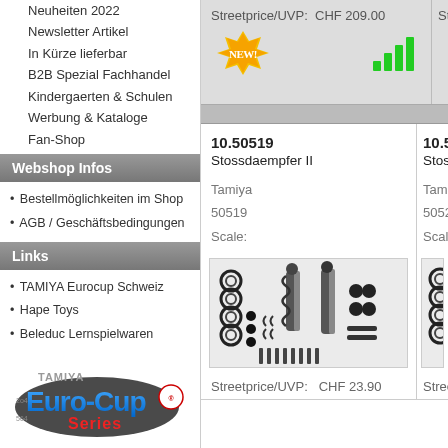Neuheiten 2022
Newsletter Artikel
In Kürze lieferbar
B2B Spezial Fachhandel
Kindergaerten & Schulen
Werbung & Kataloge
Fan-Shop
Webshop Infos
• Bestellmöglichkeiten im Shop
• AGB / Geschäftsbedingungen
Links
• TAMIYA Eurocup Schweiz
• Hape Toys
• Beleduc Lernspielwaren
[Figure (logo): Tamiya Euro-Cup Series logo]
• Renn-Kategorien
• Renntermine
Streetprice/UVP:  CHF 209.00
[Figure (infographic): NEW badge and signal bars availability indicator]
10.50519
Stossdaempfer II
Tamiya
50519
Scale:
[Figure (photo): Tamiya Stossdaempfer II shock absorber parts set]
Streetprice/UVP:    CHF 23.90
10.5052...
Stosdae...
Tamiya
50520
Scale:
[Figure (photo): Partial view of second Tamiya shock absorber parts set]